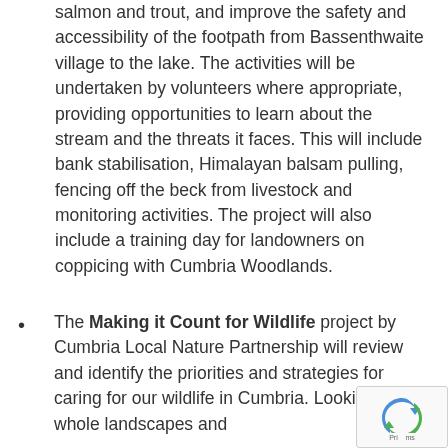salmon and trout, and improve the safety and accessibility of the footpath from Bassenthwaite village to the lake. The activities will be undertaken by volunteers where appropriate, providing opportunities to learn about the stream and the threats it faces. This will include bank stabilisation, Himalayan balsam pulling, fencing off the beck from livestock and monitoring activities. The project will also include a training day for landowners on coppicing with Cumbria Woodlands.
The Making it Count for Wildlife project by Cumbria Local Nature Partnership will review and identify the priorities and strategies for caring for our wildlife in Cumbria. Looking at whole landscapes and